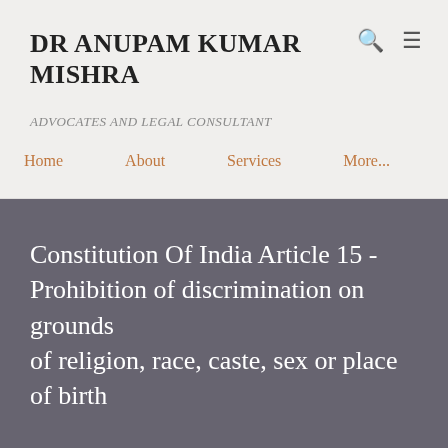DR ANUPAM KUMAR MISHRA
ADVOCATES AND LEGAL CONSULTANT
Home   About   Services   More...
Constitution Of India Article 15 - Prohibition of discrimination on grounds of religion, race, caste, sex or place of birth
April 27, 2021